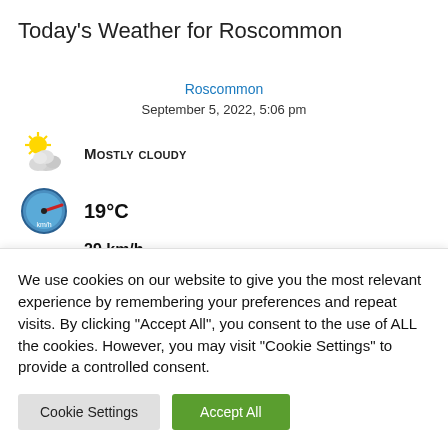Today's Weather for Roscommon
Roscommon
September 5, 2022, 5:06 pm
[Figure (illustration): Mostly cloudy weather icon: sun partially behind clouds]
MOSTLY CLOUDY
[Figure (illustration): Speedometer/gauge icon representing wind speed]
19°C
29 km/h
real feel: 15°C
current pressure: 1000 mb
We use cookies on our website to give you the most relevant experience by remembering your preferences and repeat visits. By clicking "Accept All", you consent to the use of ALL the cookies. However, you may visit "Cookie Settings" to provide a controlled consent.
Cookie Settings
Accept All